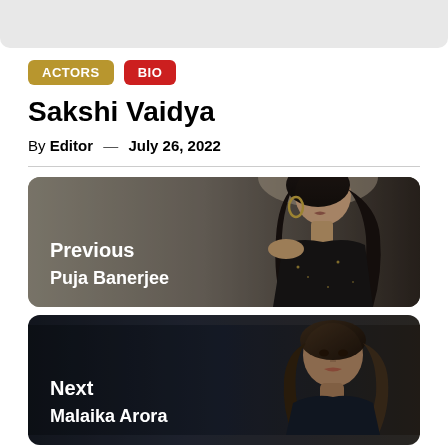[Figure (photo): Top gray banner area]
ACTORS  BIO
Sakshi Vaidya
By Editor — July 26, 2022
[Figure (photo): Previous navigation card with photo of Puja Banerjee wearing dark sequin outfit with hoop earrings, against a warm gray background. Text overlay reads: Previous / Puja Banerjee]
[Figure (photo): Next navigation card with photo of Malaika Arora, dark background. Text overlay reads: Next / Malaika Arora]